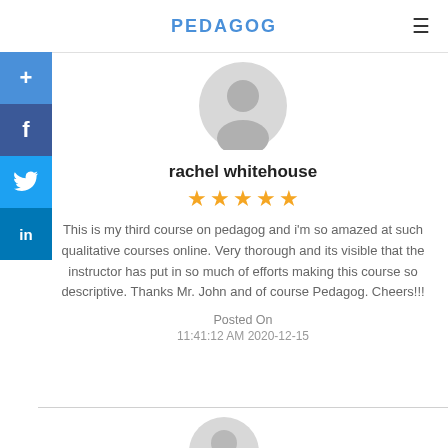PEDAGOG
[Figure (photo): Circular default user avatar (grey silhouette on light grey background)]
rachel whitehouse
[Figure (other): Five gold stars rating]
This is my third course on pedagog and i'm so amazed at such qualitative courses online. Very thorough and its visible that the instructor has put in so much of efforts making this course so descriptive. Thanks Mr. John and of course Pedagog. Cheers!!!
Posted On
11:41:12 AM 2020-12-15
[Figure (photo): Partial circular default user avatar at bottom of page]